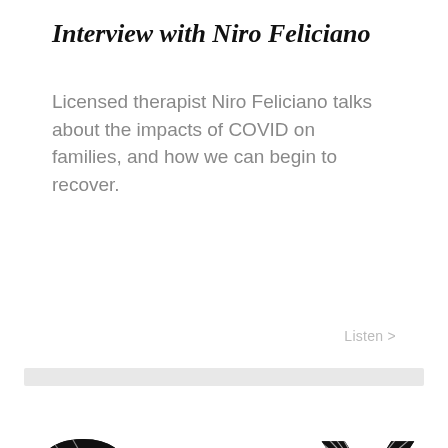Interview with Niro Feliciano
Licensed therapist Niro Feliciano talks about the impacts of COVID on families, and how we can begin to recover.
Listen >
[Figure (logo): CXMH logo with large stylized letters C, X, M, H in black and gray with striped/ray graphic effects]